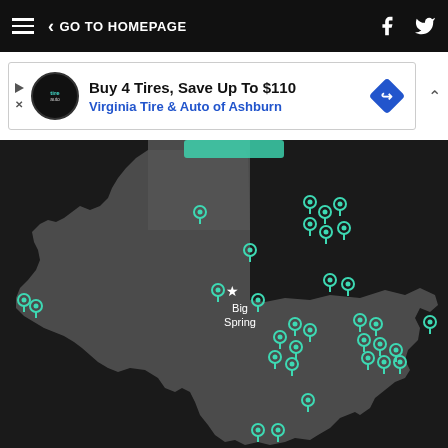GO TO HOMEPAGE
[Figure (screenshot): Advertisement banner: Buy 4 Tires, Save Up To $110 - Virginia Tire & Auto of Ashburn]
[Figure (map): Dark map of Texas showing location of Big Spring (marked with a star) and numerous teal location pins scattered across the state, particularly concentrated in central and eastern Texas.]